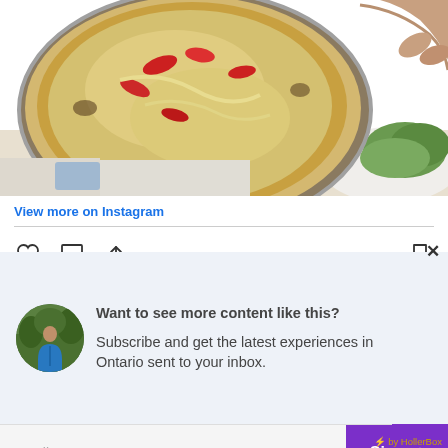[Figure (photo): A pizza in a metal pan being held by a hand, with toppings including red peppers and cheese, with a green salad visible in the background]
View more on Instagram
[Figure (illustration): Social media action icons: heart (like), speech bubble (comment), share arrow, and bookmark]
Want to see more content like this?
Subscribe and get the latest experiences in Ontario sent to your inbox.
Email
Signup
⚡ by HollerBox